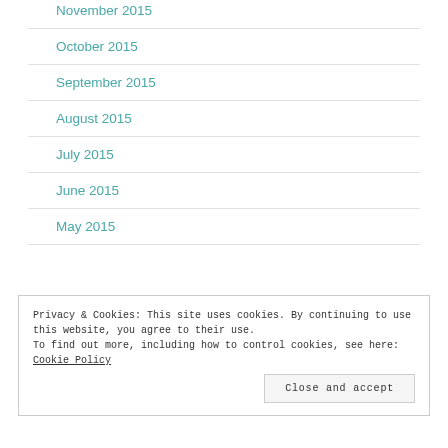November 2015
October 2015
September 2015
August 2015
July 2015
June 2015
May 2015
Privacy & Cookies: This site uses cookies. By continuing to use this website, you agree to their use.
To find out more, including how to control cookies, see here: Cookie Policy
Close and accept